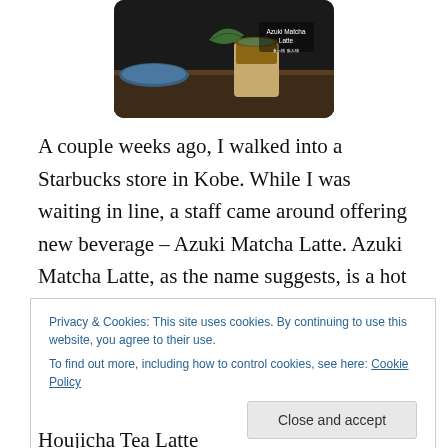[Figure (photo): Photo of Starbucks Azuki Matcha Latte drink with text overlay showing 'Azuki Matcha Latte' and some Japanese characters]
A couple weeks ago, I walked into a Starbucks store in Kobe. While I was waiting in line, a staff came around offering new beverage – Azuki Matcha Latte. Azuki Matcha Latte, as the name suggests, is a hot latte beverage made of green tea, red beans, and steamed milk. Although I didn't end up buying it, I was awed by the creativity and originality of Starbucks Japan. Yet this is not the only
Privacy & Cookies: This site uses cookies. By continuing to use this website, you agree to their use.
To find out more, including how to control cookies, see here: Cookie Policy
Houjicha Tea Latte